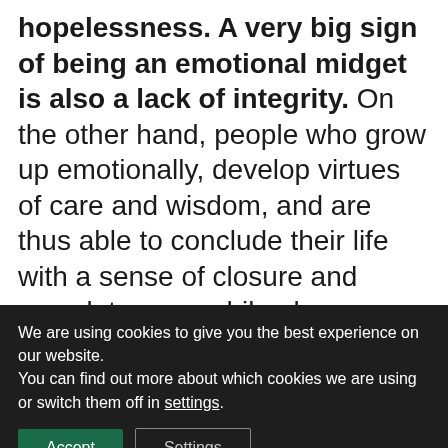hopelessness. A very big sign of being an emotional midget is also a lack of integrity. On the other hand, people who grow up emotionally, develop virtues of care and wisdom, and are thus able to conclude their life with a sense of closure and completeness, while also accepting death without any fear. Something emotional midgets have a hard time doing.
We are using cookies to give you the best experience on our website.
You can find out more about which cookies we are using or switch them off in settings.